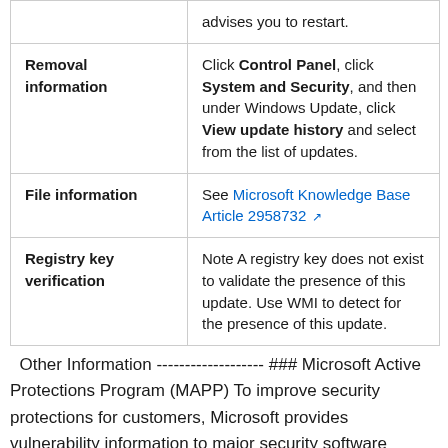|  |  |
| --- | --- |
|  | advises you to restart. |
| Removal information | Click Control Panel, click System and Security, and then under Windows Update, click View update history and select from the list of updates. |
| File information | See Microsoft Knowledge Base Article 2958732 |
| Registry key verification | Note A registry key does not exist to validate the presence of this update. Use WMI to detect for the presence of this update. |
Other Information ------------------- ### Microsoft Active Protections Program (MAPP) To improve security protections for customers, Microsoft provides vulnerability information to major security software providers in advance of each monthly security update release. Security software